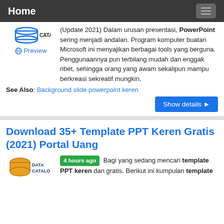Home
(Update 2021) Dalam urusan presentasi, PowerPoint sering menjadi andalan. Program komputer buatan Microsoft ini menyajikan berbagai tools yang berguna. Penggunaannya pun terbilang mudah dan enggak ribet, sehingga orang yang awam sekalipun mampu berkreasi sekreatif mungkin.
See Also: Background slide powerpoint keren
Download 35+ Template PPT Keren Gratis (2021) Portal Uang
4 hours ago Bagi yang sedang mencari template PPT keren dan gratis. Berikut ini kumpulan template